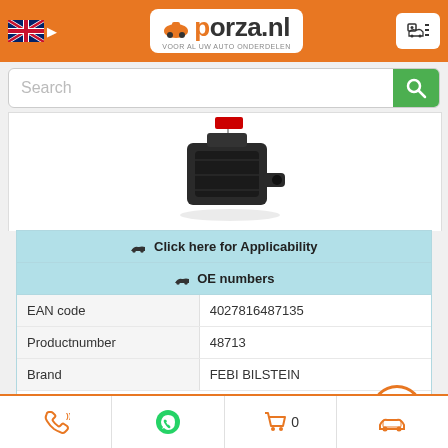[Figure (logo): Porza.nl website header with orange background, UK flag, porza.nl logo, and menu icon]
[Figure (screenshot): Search bar with green search button]
[Figure (photo): Auto part product photo - black plastic component (FEBI BILSTEIN 48713)]
| Click here for Applicability |  |
| OE numbers |  |
| EAN code | 4027816487135 |
| Productnumber | 48713 |
| Brand | FEBI BILSTEIN |
★★★★☆
⚠ Alles weergeven
Phone | WhatsApp | Cart 0 | Car